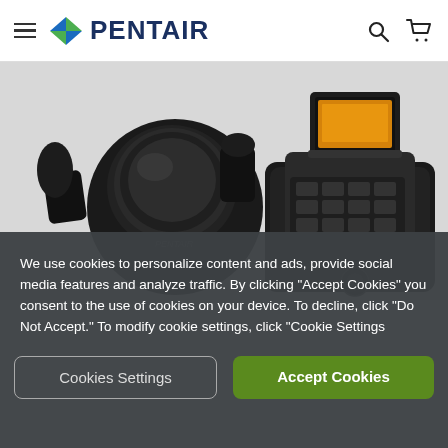[Figure (logo): Pentair logo with diamond/arrow icon and bold PENTAIR text in dark blue]
[Figure (photo): Black Pentair variable speed pool pump with circular strainer basket housing on left and electronic control panel with orange display screen on right, photographed on white background]
We use cookies to personalize content and ads, provide social media features and analyze traffic. By clicking "Accept Cookies" you consent to the use of cookies on your device. To decline, click "Do Not Accept." To modify cookie settings, click "Cookie Settings
Cookies Settings
Accept Cookies